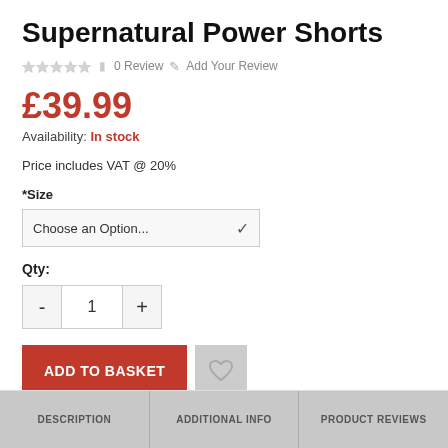Supernatural Power Shorts
★★★★★  0 Review  ✏ Add Your Review
£39.99
Availability: In stock
Price includes VAT @ 20%
*Size
Choose an Option...
Qty:
- 1 +
ADD TO BASKET
DESCRIPTION
ADDITIONAL INFO
PRODUCT REVIEWS